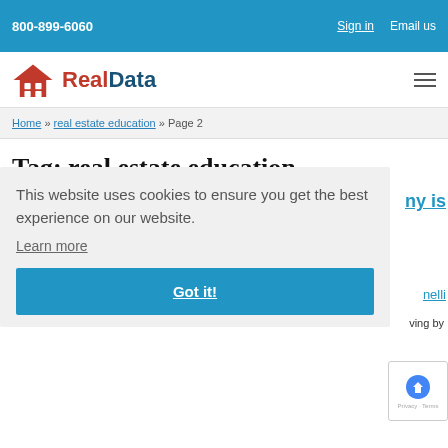800-899-6060
Sign in   Email us
[Figure (logo): RealData logo with red house icon and two-color text: red 'Real' and dark blue 'Data']
Home » real estate education » Page 2
Tag: real estate education
This website uses cookies to ensure you get the best experience on our website. Learn more Got it!